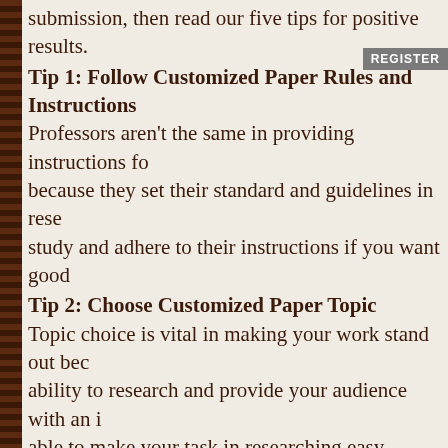submission, then read our five tips for positive results.
Tip 1: Follow Customized Paper Rules and Instructions
Professors aren't the same in providing instructions for because they set their standard and guidelines in rese study and adhere to their instructions if you want good
Tip 2: Choose Customized Paper Topic
Topic choice is vital in making your work stand out bec ability to research and provide your audience with an i able to make your task in researching easy especially topic you are going to write about. Researching is a lo interested in your topic in order to bring out your best.
Tip 3: Customized Paper Thesis
In order to generate interest from the audience, you m interesting thesis, so don't be scared to experiment as point. You will get success in your paper if you will be a fresh, and unique content for your project.
Tip 4: Customized Paper Structure
Your customized paper will become really impressive i with a properly written assignment because it can high